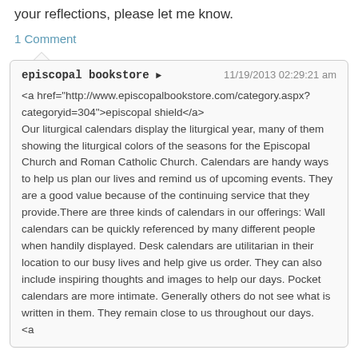your reflections, please let me know.
1 Comment
episcopal bookstore ➔   11/19/2013 02:29:21 am
<a href="http://www.episcopalbookstore.com/category.aspx?categoryid=304">episcopal shield</a>
Our liturgical calendars display the liturgical year, many of them showing the liturgical colors of the seasons for the Episcopal Church and Roman Catholic Church. Calendars are handy ways to help us plan our lives and remind us of upcoming events. They are a good value because of the continuing service that they provide.There are three kinds of calendars in our offerings: Wall calendars can be quickly referenced by many different people when handily displayed. Desk calendars are utilitarian in their location to our busy lives and help give us order. They can also include inspiring thoughts and images to help our days. Pocket calendars are more intimate. Generally others do not see what is written in them. They remain close to us throughout our days.
<a